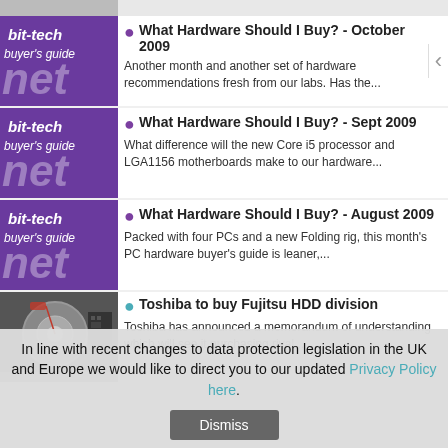What Hardware Should I Buy? - October 2009: Another month and another set of hardware recommendations fresh from our labs. Has the...
What Hardware Should I Buy? - Sept 2009: What difference will the new Core i5 processor and LGA1156 motherboards make to our hardware...
What Hardware Should I Buy? - August 2009: Packed with four PCs and a new Folding rig, this month's PC hardware buyer's guide is leaner,...
Toshiba to buy Fujitsu HDD division: Toshiba has announced a memorandum of understanding which will see it purchasing rival...
In line with recent changes to data protection legislation in the UK and Europe we would like to direct you to our updated Privacy Policy here.
Dismiss